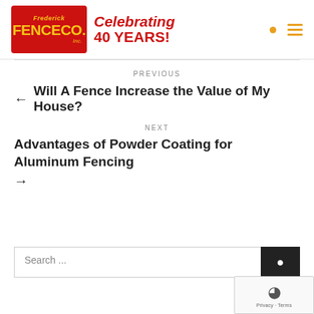[Figure (logo): Frederick Fence Co. Inc. logo — red background with yellow text, alongside red italic 'Celebrating 40 YEARS!' text]
PREVIOUS
← Will A Fence Increase the Value of My House?
NEXT
Advantages of Powder Coating for Aluminum Fencing →
Search ...